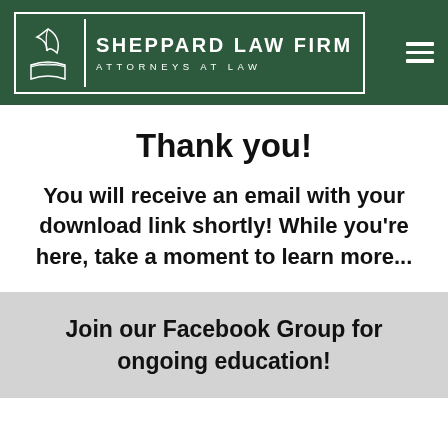[Figure (logo): Sheppard Law Firm logo with open book and quill icon on dark green background, text reads SHEPPARD LAW FIRM ATTORNEYS AT LAW, with hamburger menu icon]
Thank you!
You will receive an email with your download link shortly! While you're here, take a moment to learn more...
Join our Facebook Group for ongoing education!